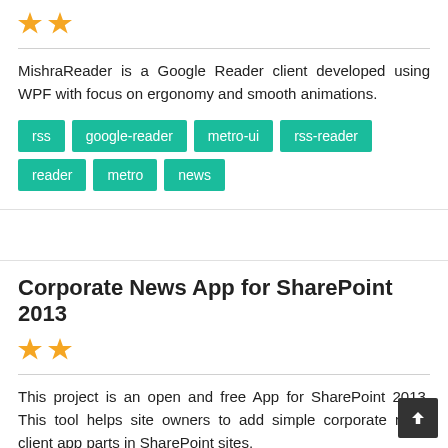[Figure (other): Two gold/yellow star rating icons]
MishraReader is a Google Reader client developed using WPF with focus on ergonomy and smooth animations.
rss
google-reader
metro-ui
rss-reader
reader
metro
news
Corporate News App for SharePoint 2013
[Figure (other): Two gold/yellow star rating icons]
This project is an open and free App for SharePoint 2013. This tool helps site owners to add simple corporate news client app parts in SharePoint sites.
app
app-part
client-app-part
news
sharepoint
sharepoint-2013
sharepoint-apps